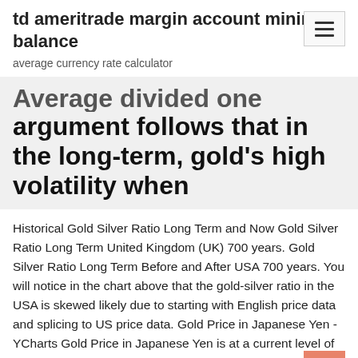td ameritrade margin account minimum balance
average currency rate calculator
Average divided one argument follows that in the long-term, gold's high volatility when
Historical Gold Silver Ratio Long Term and Now Gold Silver Ratio Long Term United Kingdom (UK) 700 years. Gold Silver Ratio Long Term Before and After USA 700 years. You will notice in the chart above that the gold-silver ratio in the USA is skewed likely due to starting with English price data and splicing to US price data. Gold Price in Japanese Yen - YCharts Gold Price in Japanese Yen is at a current level of 174975.7, down from 178969.8 the previous market day. This represents a